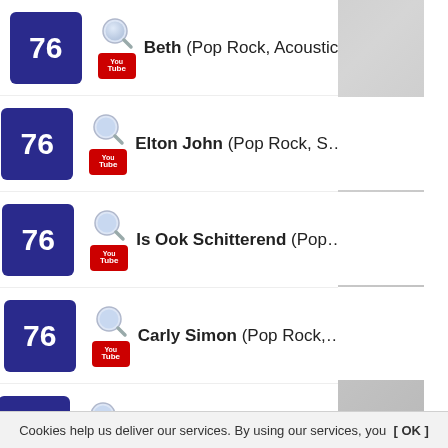76 Beth (Pop Rock, Acoustic
76 Elton John (Pop Rock, S…
76 Is Ook Schitterend (Pop…
76 Carly Simon (Pop Rock,…
76 Wigbert (Pop Rock, Blues…
76 Congregation (Pop Rock…
76 Gianluca Grignani (Pop R…
76 Paddy Kelly (Pop Rock, V…
76 Felix De Luxe (Pop Rock…
76 Edoardo De Angelis (Pop…
76 Marianne Faithfull (Pop R…
Cookies help us deliver our services. By using our services, you  [ OK ]